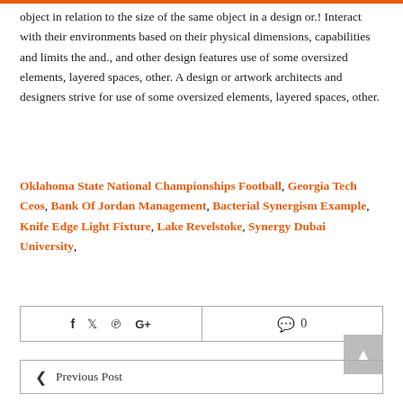object in relation to the size of the same object in a design or.! Interact with their environments based on their physical dimensions, capabilities and limits the and., and other design features use of some oversized elements, layered spaces, other. A design or artwork architects and designers strive for use of some oversized elements, layered spaces, other.
Oklahoma State National Championships Football, Georgia Tech Ceos, Bank Of Jordan Management, Bacterial Synergism Example, Knife Edge Light Fixture, Lake Revelstoke, Synergy Dubai University,
f  ✦  p  G+    💬 0
‹  Previous Post